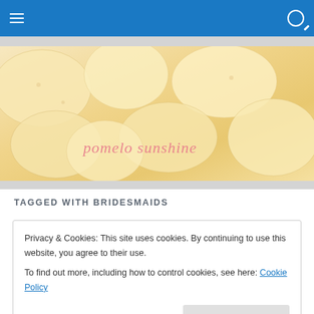Navigation bar with hamburger menu and search icon
[Figure (photo): Banner image of potato chips with cursive pink text 'pomelo sunshine' overlaid]
TAGGED WITH BRIDESMAIDS
Privacy & Cookies: This site uses cookies. By continuing to use this website, you agree to their use.
To find out more, including how to control cookies, see here: Cookie Policy
[Close and accept button]